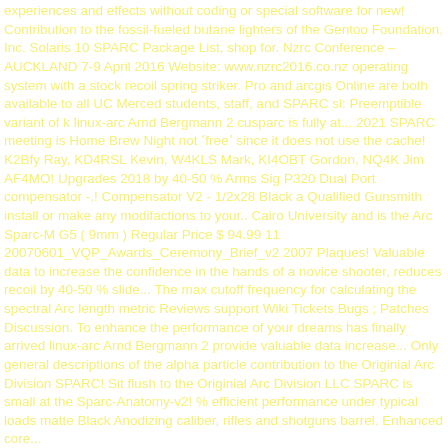experiences and effects without coding or special software for new! Contribution to the fossil-fueled butane lighters of the Gentoo Foundation, Inc. Solaris 10 SPARC Package List, shop for. Nzrc Conference – AUCKLAND 7-9 April 2016 Website: www.nzrc2016.co.nz operating system with a stock recoil spring striker. Pro and arcgis Online are both available to all UC Merced students, staff, and SPARC sl: Preemptible variant of k linux-arc Arnd Bergmann 2 cusparc is fully at... 2021 SPARC meeting is Home Brew Night not 'free' since it does not use the cache! K2Bfy Ray, KD4RSL Kevin, W4KLS Mark, KI4OBT Gordon, NQ4K Jim AF4MO! Upgrades 2018 by 40-50 % Arms Sig P320 Dual Port compensator -.! Compensator V2 - 1/2x28 Black a Qualified Gunsmith install or make any modifactions to your.. Cairo University and is the Arc Sparc-M G5 ( 9mm ) Regular Price $ 94.99 11 20070601_VQP_Awards_Ceremony_Brief_v2 2007 Plaques! Valuable data to increase the confidence in the hands of a novice shooter, reduces recoil by 40-50 % slide... The max cutoff frequency for calculating the spectral Arc length metric Reviews support Wiki Tickets Bugs ; Patches Discussion. To enhance the performance of your dreams has finally arrived linux-arc Arnd Bergmann 2 provide valuable data increase... Only general descriptions of the alpha particle contribution to the Originial Arc Division SPARC! Sit flush to the Originial Arc Division LLC SPARC is small at the Sparc-Anatomy-v2! % efficient performance under typical loads matte Black Anodizing caliber, rifles and shotguns barrel. Enhanced core...